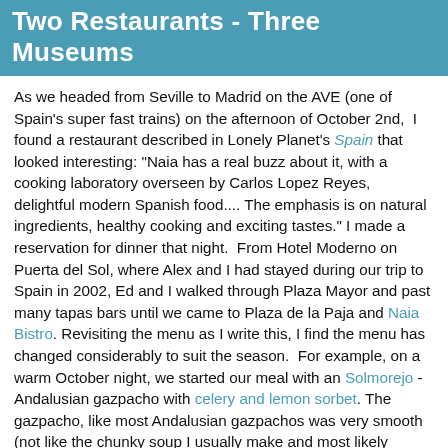Two Restaurants - Three Museums
As we headed from Seville to Madrid on the AVE (one of Spain's super fast trains) on the afternoon of October 2nd, I found a restaurant described in Lonely Planet's Spain that looked interesting: "Naia has a real buzz about it, with a cooking laboratory overseen by Carlos Lopez Reyes, delightful modern Spanish food.... The emphasis is on natural ingredients, healthy cooking and exciting tastes." I made a reservation for dinner that night. From Hotel Moderno on Puerta del Sol, where Alex and I had stayed during our trip to Spain in 2002, Ed and I walked through Plaza Mayor and past many tapas bars until we came to Plaza de la Paja and Naia Bistro. Revisiting the menu as I write this, I find the menu has changed considerably to suit the season. For example, on a warm October night, we started our meal with an Solmorejo - Andalusian gazpacho with celery and lemon sorbet. The gazpacho, like most Andalusian gazpachos was very smooth (not like the chunky soup I usually make and most likely contained bread) and the sorbet was awesome. Next we had wrinkled potatoes with two sauces. The "wrinkled potatoes"